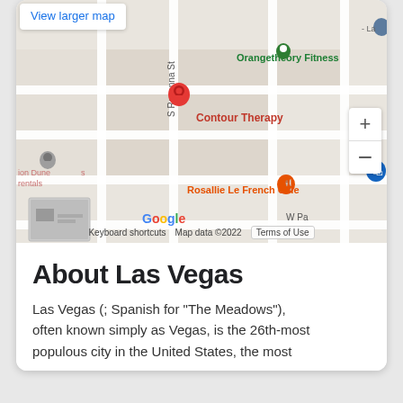[Figure (map): Google Maps screenshot showing Contour Therapy location on S Rosanna St in Las Vegas, with nearby businesses including Orangetheory Fitness and Rosallie Le French Cafe. Map shows street grid with zoom controls and Google branding.]
About Las Vegas
Las Vegas (; Spanish for "The Meadows"), often known simply as Vegas, is the 26th-most populous city in the United States, the most